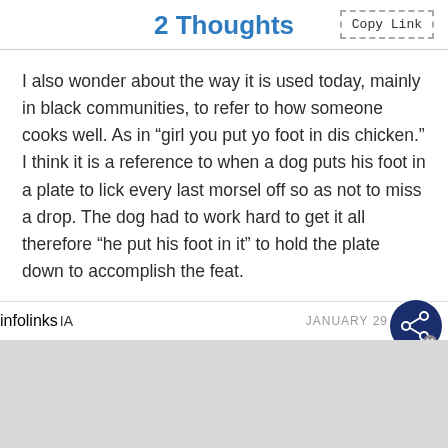2 Thoughts
I also wonder about the way it is used today, mainly in black communities, to refer to how someone cooks well. As in “girl you put yo foot in dis chicken.” I think it is a reference to when a dog puts his foot in a plate to lick every last morsel off so as not to miss a drop. The dog had to work hard to get it all therefore “he put his foot in it” to hold the plate down to accomplish the feat.
infolinks  IA  JANUARY 29